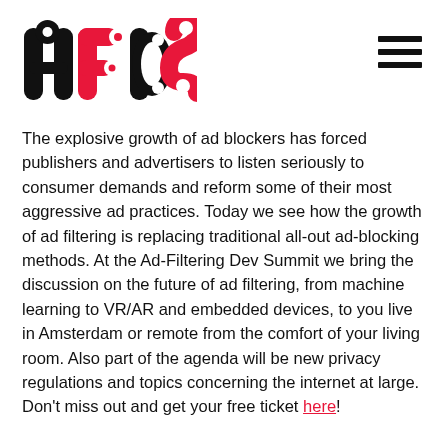[Figure (logo): AFDS logo in black and pink/red lettering with circular cutout design]
The explosive growth of ad blockers has forced publishers and advertisers to listen seriously to consumer demands and reform some of their most aggressive ad practices. Today we see how the growth of ad filtering is replacing traditional all-out ad-blocking methods. At the Ad-Filtering Dev Summit we bring the discussion on the future of ad filtering, from machine learning to VR/AR and embedded devices, to you live in Amsterdam or remote from the comfort of your living room. Also part of the agenda will be new privacy regulations and topics concerning the internet at large. Don't miss out and get your free ticket here!